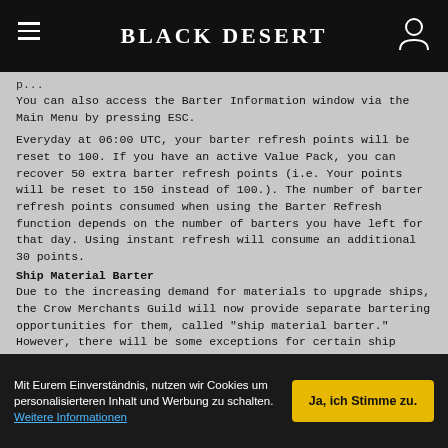Black Desert
You can also access the Barter Information window via the Main Menu by pressing ESC.
Everyday at 06:00 UTC, your barter refresh points will be reset to 100. If you have an active Value Pack, you can recover 50 extra barter refresh points (i.e. Your points will be reset to 150 instead of 100.). The number of barter refresh points consumed when using the Barter Refresh function depends on the number of barters you have left for that day. Using instant refresh will consume an additional 30 points.
Ship Material Barter
Due to the increasing demand for materials to upgrade ships, the Crow Merchants Guild will now provide separate bartering opportunities for them, called "ship material barter." However, there will be some exceptions for certain ship upgrade materials.
Mit Eurem Einverständnis, nutzen wir Cookies um personalisierteren Inhalt und Werbung zu schalten. Weitere Informationen
Ja, ich Stimme zu.